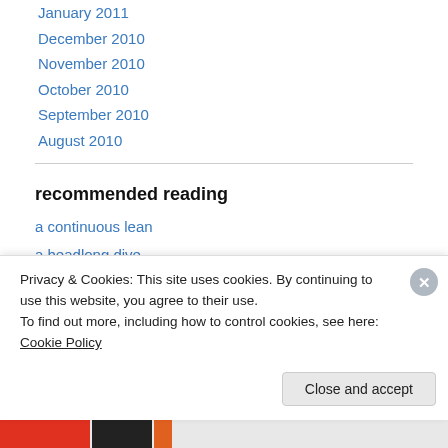January 2011
December 2010
November 2010
October 2010
September 2010
August 2010
recommended reading
a continuous lean
a headlong dive
a restless transplant
a time to get
Privacy & Cookies: This site uses cookies. By continuing to use this website, you agree to their use.
To find out more, including how to control cookies, see here: Cookie Policy
Close and accept